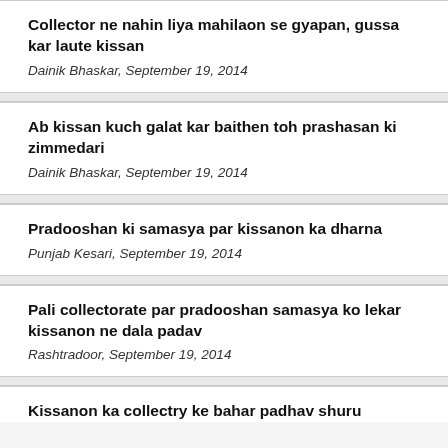Collector ne nahin liya mahilaon se gyapan, gussa kar laute kissan
Dainik Bhaskar, September 19, 2014
Ab kissan kuch galat kar baithen toh prashasan ki zimmedari
Dainik Bhaskar, September 19, 2014
Pradooshan ki samasya par kissanon ka dharna
Punjab Kesari, September 19, 2014
Pali collectorate par pradooshan samasya ko lekar kissanon ne dala padav
Rashtradoor, September 19, 2014
Kissanon ka collectry ke bahar padhav shuru